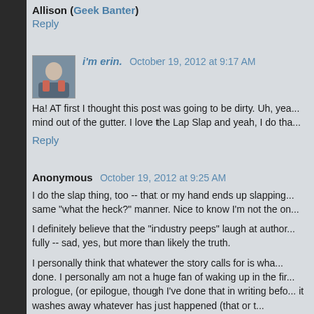Allison (Geek Banter)
Reply
i'm erin.  October 19, 2012 at 9:17 AM
Ha! AT first I thought this post was going to be dirty. Uh, yeah... mind out of the gutter. I love the Lap Slap and yeah, I do tha...
Reply
Anonymous  October 19, 2012 at 9:25 AM
I do the slap thing, too -- that or my hand ends up slapping... same "what the heck?" manner. Nice to know I'm not the on...
I definitely believe that the "industry peeps" laugh at author... fully -- sad, yes, but more than likely the truth.
I personally think that whatever the story calls for is wha... done. I personally am not a huge fan of waking up in the fir... prologue, (or epilogue, though I've done that in writing befor... it washes away whatever has just happened (that or t... "message" in the dream, which is usually overly obvious...